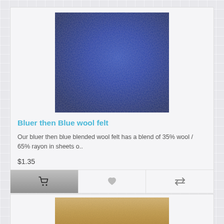[Figure (photo): Blue wool felt fabric swatch — a square textile sample in deep royal blue color with visible fiber texture]
Bluer then Blue wool felt
Our bluer then blue blended wool felt has a blend of 35% wool / 65% rayon in sheets o..
$1.35
[Figure (photo): Tan/gold wool felt fabric swatch — partially visible at bottom of page]